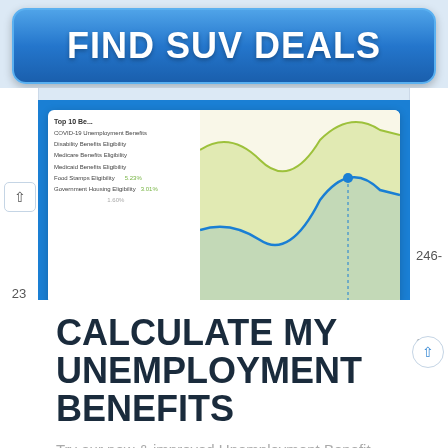[Figure (screenshot): Blue rounded rectangle advertisement button reading FIND SUV DEALS in bold white text]
[Figure (screenshot): Screenshot of a web analytics chart showing Top 10 items including COVID-19 Unemployment Benefits, Disability Benefits Eligibility, Medicare Benefits Eligibility, Medicaid Benefits Eligibility, Food Stamps Eligibility, Government Housing Eligibility, with percentage values and a line chart]
CALCULATE MY UNEMPLOYMENT BENEFITS
Try our new & improved Unemployment Benefit Finder today and see if you could qualify for up to $3,345/month in benefits!